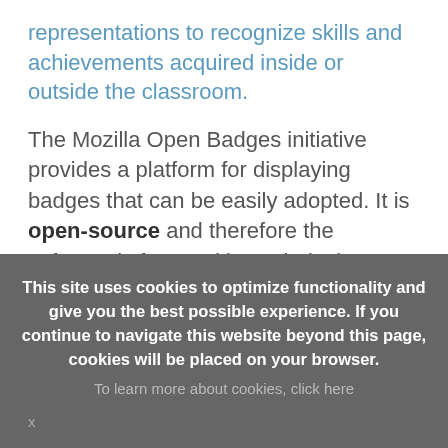representations to recognize skills and achievements acquired inside or outside the classroom.
The Mozilla Open Badges initiative provides a platform for displaying badges that can be easily adopted. It is open-source and therefore the software is free and its technical specifications are open.
Open badges are displayed as a digital symbol that...
This site uses cookies to optimize functionality and give you the best possible experience. If you continue to navigate this website beyond this page, cookies will be placed on your browser.
To learn more about cookies, click here
x